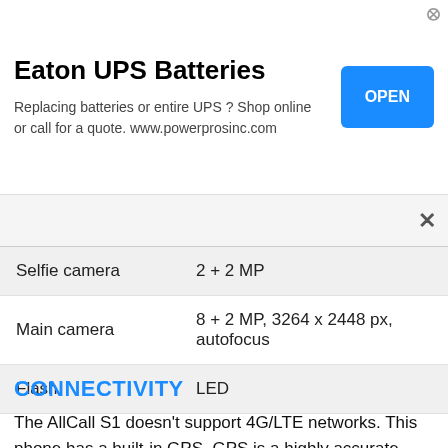[Figure (infographic): Eaton UPS Batteries advertisement banner with title, body text, and OPEN button]
| Feature | Value |
| --- | --- |
| Selfie camera | 2 + 2 MP |
| Main camera | 8 + 2 MP, 3264 x 2448 px, autofocus |
| Flash | LED |
CONNECTIVITY
The AllCall S1 doesn't support 4G/LTE networks. This phone has a built-in GPS. GPS is a highly accurate navigation system using signals from satellites to determine a location on the Earth's surface, irrespective of weather conditions. Most phones have a GPS unit on board. The S1 phone has built-in FM radio. The built-in FM Radio is great for listening to